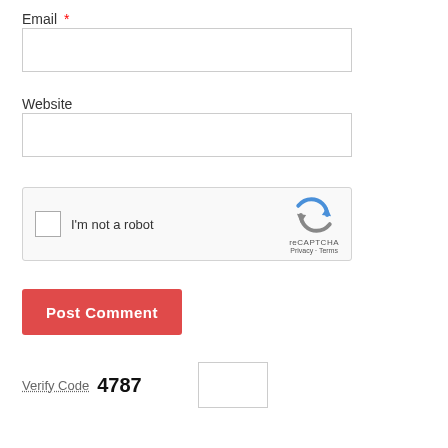Email *
[Figure (other): Empty text input field for Email]
Website
[Figure (other): Empty text input field for Website]
[Figure (other): reCAPTCHA widget with checkbox labeled I'm not a robot]
[Figure (other): Post Comment button (red)]
Verify Code  4787
[Figure (other): Empty text input field for Verify Code]